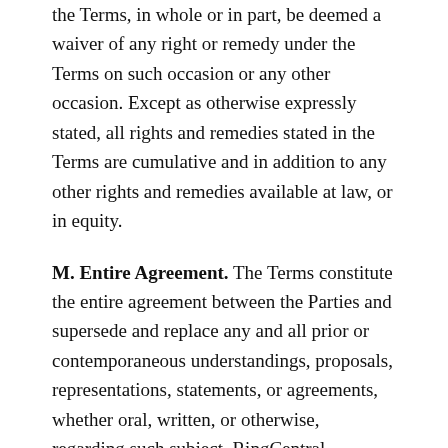the Terms, in whole or in part, be deemed a waiver of any right or remedy under the Terms on such occasion or any other occasion. Except as otherwise expressly stated, all rights and remedies stated in the Terms are cumulative and in addition to any other rights and remedies available at law, or in equity.
M. Entire Agreement. The Terms constitute the entire agreement between the Parties and supersede and replace any and all prior or contemporaneous understandings, proposals, representations, statements, or agreements, whether oral, written, or otherwise, regarding such subject. RingCentral expressly rejects in their entirety any additional or conflicting terms or conditions contained in any order confirmation, sales acknowledgment, Customer purchase order, or similar Customer document,